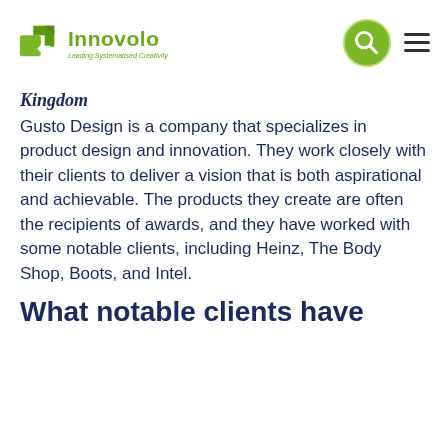[Figure (logo): Innovolo logo with green arrow/box icon and text 'Innovolo' in green with tagline 'Leading Systematised Creativity']
Kingdom
Gusto Design is a company that specializes in product design and innovation. They work closely with their clients to deliver a vision that is both aspirational and achievable. The products they create are often the recipients of awards, and they have worked with some notable clients, including Heinz, The Body Shop, Boots, and Intel.
What notable clients have